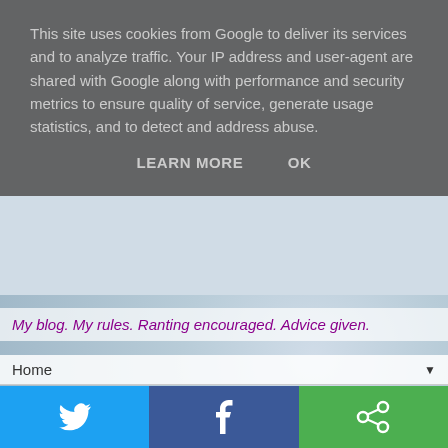This site uses cookies from Google to deliver its services and to analyze traffic. Your IP address and user-agent are shared with Google along with performance and security metrics to ensure quality of service, generate usage statistics, and to detect and address abuse.
LEARN MORE   OK
My blog. My rules. Ranting encouraged. Advice given.
Home ▼
What is the cost of a dog in the first year?
[Figure (photo): A brown dog lying on green grass next to a teal panel with a gold pound sign icon and text 'WHAT DOES IT REALLY COST']
[Figure (infographic): Social sharing bar with Twitter (blue), Facebook (dark blue), and Google/share (green) buttons with white icons]